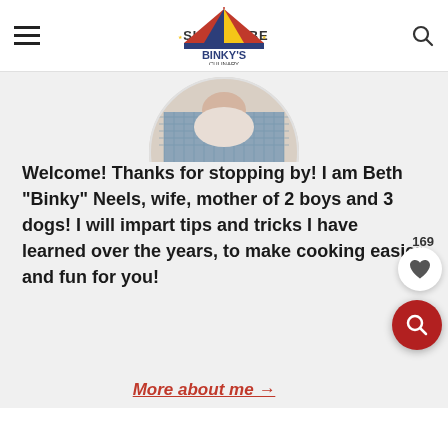Binky's Culinary Carnival — SUBSCRIBE
[Figure (photo): Circular cropped photo of Beth 'Binky' Neels, partially visible at top, wearing a blue patterned jacket]
Welcome! Thanks for stopping by! I am Beth "Binky" Neels, wife, mother of 2 boys and 3 dogs! I will impart tips and tricks I have learned over the years, to make cooking easier and fun for you!
More about me →